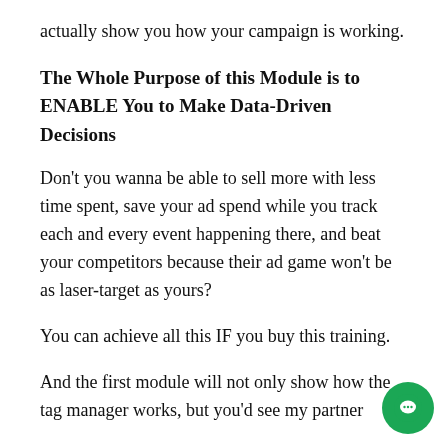actually show you how your campaign is working.
The Whole Purpose of this Module is to ENABLE You to Make Data-Driven Decisions
Don’t you wanna be able to sell more with less time spent, save your ad spend while you track each and every event happening there, and beat your competitors because their ad game won’t be as laser-target as yours?
You can achieve all this IF you buy this training.
And the first module will not only show how the tag manager works, but you’d see my partner